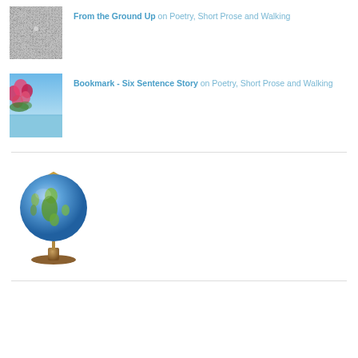[Figure (photo): Grainy gray textured surface photo (concrete or similar)]
From the Ground Up on Poetry, Short Prose and Walking
[Figure (photo): Photo of pink/red flowers with blue sky and water in background]
Bookmark - Six Sentence Story on Poetry, Short Prose and Walking
[Figure (photo): Photo of a globe on a wooden stand showing Africa and Europe]